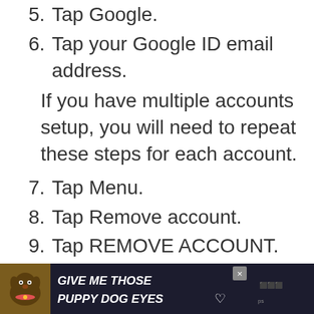5. Tap Google.
6. Tap your Google ID email address. If you have multiple accounts setup, you will need to repeat these steps for each account.
7. Tap Menu.
8. Tap Remove account.
9. Tap REMOVE ACCOUNT.
After doing this and you’re sure you’ve already made backups of your important
[Figure (infographic): Advertisement banner with dog image and text 'GIVE ME THOSE PUPPY DOG EYES' on dark background with a close button]